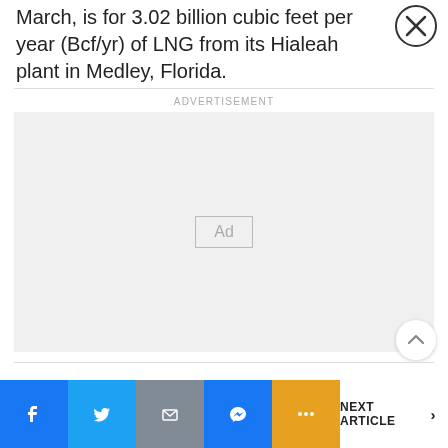(Bcf/yr) of LNG from its Hialeah plant in Medley, Florida.
[Figure (other): Close button (X) overlay in top right corner]
ADVERTISEMENT
[Figure (other): Advertisement placeholder box with 'Ad' label]
[Figure (other): Scroll to top button (chevron up)]
NEXT ARTICLE >